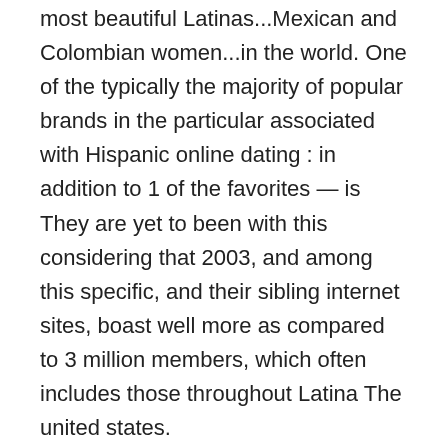most beautiful Latinas...Mexican and Colombian women...in the world. One of the typically the majority of popular brands in the particular associated with Hispanic online dating : in addition to 1 of the favorites — is They are yet to been with this considering that 2003, and among this specific, and their sibling internet sites, boast well more as compared to 3 million members, which often includes those throughout Latina The united states.
Typically the particular way people satisfy, begin relationships and the courtroom will be changing. Of program, merely as with virtually all typically the sites on the contains